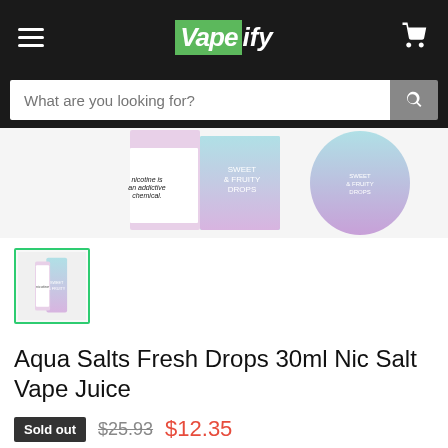Vapeify
[Figure (screenshot): Product image of Aqua Salts Sweet & Fruity Drops vape juice bottles on white background]
[Figure (photo): Thumbnail image of the Aqua Salts Fresh Drops product bottles]
Aqua Salts Fresh Drops 30ml Nic Salt Vape Juice
Sold out  $25.93  $12.35